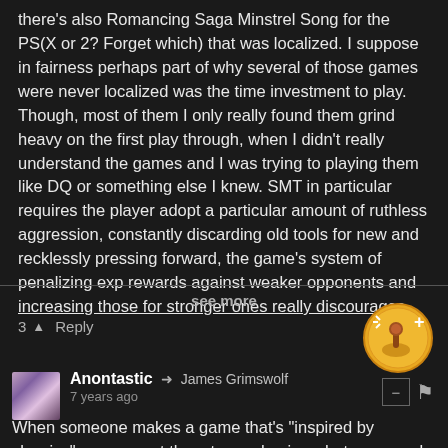there's also Romancing Saga Minstrel Song for the PS(X or 2? Forget which) that was localized. I suppose in fairness perhaps part of why several of those games were never localized was the time investment to play. Though, most of them I only really found them grind heavy on the first play through, when I didn't really understand the games and I was trying to playing them like DQ or something else I knew. SMT in particular requires the player adopt a particular amount of ruthless aggression, constantly discarding old tools for new and recklessly pressing forward, the game's system of penalizing exp rewards against weaker opponents and increasing those for stronger ones really discourages
see more
3 ^ Reply
[Figure (illustration): Gold circular badge with a joystick/game controller icon and a plus symbol, indicating a gaming achievement or reward badge]
Anontastic → James Grimswolf
7 years ago
When someone makes a game that's "inspired by classics", you expect them to emphasize what was good about the